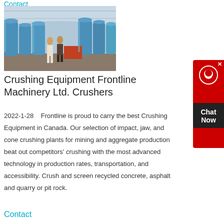Contact
[Figure (photo): Two people standing in an industrial facility with large blue cylindrical machines (crushers/mill equipment) lined up inside a warehouse with an arched metal roof.]
Crushing Equipment Frontline Machinery Ltd. Crushers
2022-1-28    Frontline is proud to carry the best Crushing Equipment in Canada. Our selection of impact, jaw, and cone crushing plants for mining and aggregate production beat out competitors' crushing with the most advanced technology in production rates, transportation, and accessibility. Crush and screen recycled concrete, asphalt and quarry or pit rock.
Contact